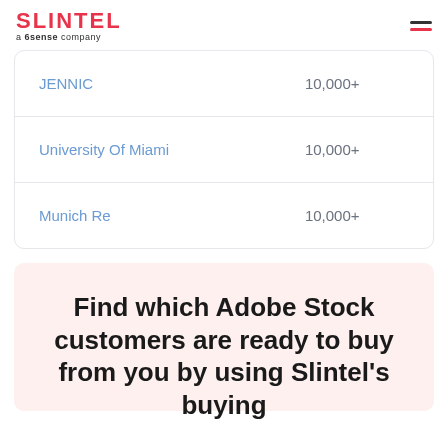SLINTEL a 6sense company
| Company | Employees |
| --- | --- |
| JENNIC | 10,000+ |
| University Of Miami | 10,000+ |
| Munich Re | 10,000+ |
Find which Adobe Stock customers are ready to buy from you by using Slintel's buying